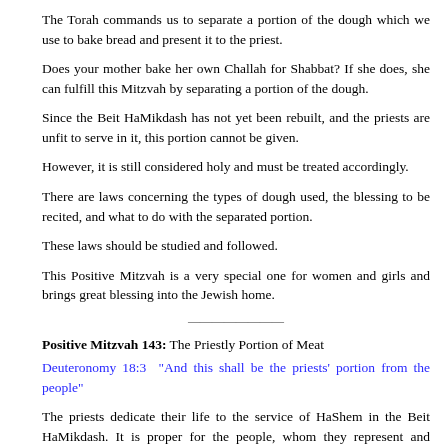The Torah commands us to separate a portion of the dough which we use to bake bread and present it to the priest.
Does your mother bake her own Challah for Shabbat? If she does, she can fulfill this Mitzvah by separating a portion of the dough.
Since the Beit HaMikdash has not yet been rebuilt, and the priests are unfit to serve in it, this portion cannot be given.
However, it is still considered holy and must be treated accordingly.
There are laws concerning the types of dough used, the blessing to be recited, and what to do with the separated portion.
These laws should be studied and followed.
This Positive Mitzvah is a very special one for women and girls and brings great blessing into the Jewish home.
———
Positive Mitzvah 143: The Priestly Portion of Meat
Deuteronomy 18:3 "And this shall be the priests' portion from the people"
The priests dedicate their life to the service of HaShem in the Beit HaMikdash. It is proper for the people, whom they represent and benefit, to supply them with their needs.